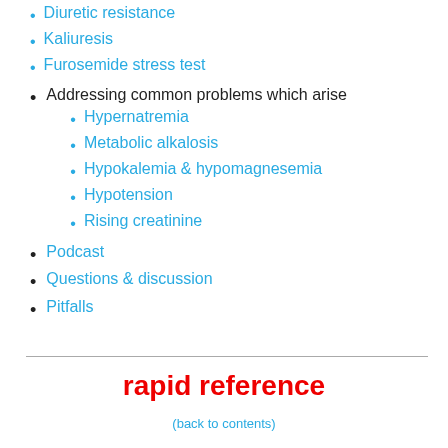Diuretic resistance
Kaliuresis
Furosemide stress test
Addressing common problems which arise
Hypernatremia
Metabolic alkalosis
Hypokalemia & hypomagnesemia
Hypotension
Rising creatinine
Podcast
Questions & discussion
Pitfalls
rapid reference
(back to contents)